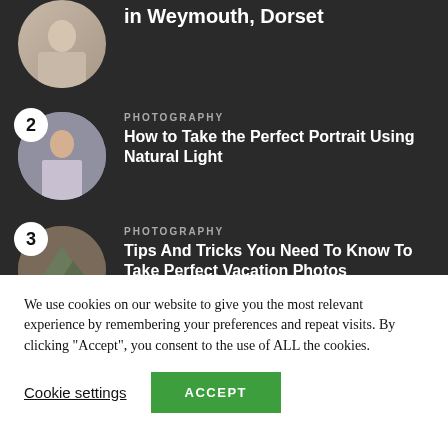in Weymouth, Dorset
PHOTOGRAPHY
How to Take the Perfect Portrait Using Natural Light
PHOTOGRAPHY
Tips And Tricks You Need To Know To Take Perfect Vacation Photos
We use cookies on our website to give you the most relevant experience by remembering your preferences and repeat visits. By clicking “Accept”, you consent to the use of ALL the cookies.
Cookie settings
ACCEPT